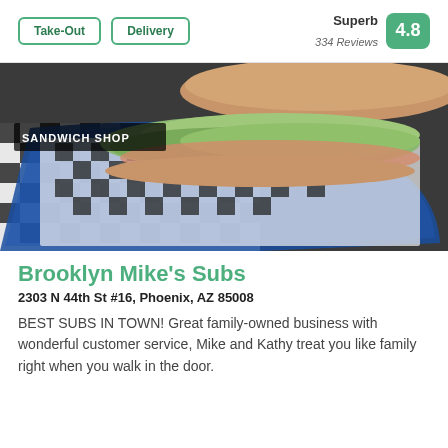Take-Out
Delivery
Superb
334 Reviews
4.8
[Figure (photo): Photo of a submarine sandwich with shredded lettuce on a blue tray with black and white checkered paper, in a food service setting. Label reads SANDWICH SHOP.]
Brooklyn Mike's Subs
2303 N 44th St #16, Phoenix, AZ 85008
BEST SUBS IN TOWN! Great family-owned business with wonderful customer service, Mike and Kathy treat you like family right when you walk in the door.